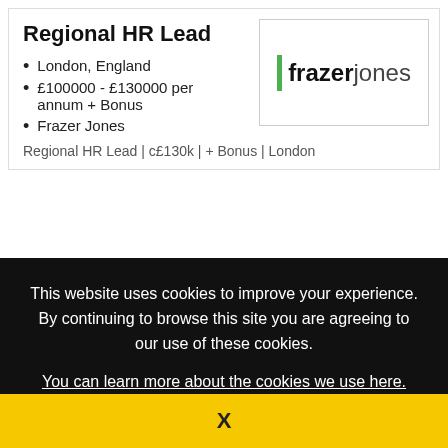Regional HR Lead
London, England
£100000 - £130000 per annum + Bonus
Frazer Jones
[Figure (logo): Frazer Jones company logo with green vertical bar before 'frazer jones' text]
Regional HR Lead | c£130k | + Bonus | London
This website uses cookies to improve your experience. By continuing to browse this site you are agreeing to our use of these cookies.
You can learn more about the cookies we use here.
X
Implementation Project